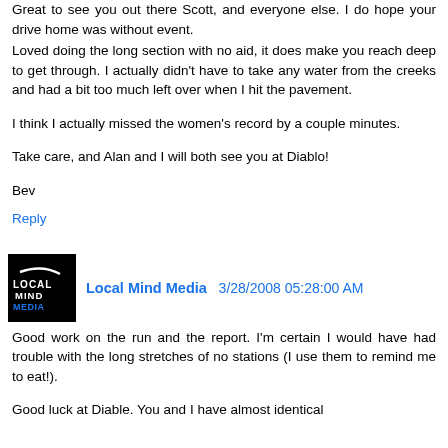Great to see you out there Scott, and everyone else. I do hope your drive home was without event.
Loved doing the long section with no aid, it does make you reach deep to get through. I actually didn't have to take any water from the creeks and had a bit too much left over when I hit the pavement.
I think I actually missed the women's record by a couple minutes.
Take care, and Alan and I will both see you at Diablo!
Bev
Reply
Local Mind Media  3/28/2008 05:28:00 AM
Good work on the run and the report. I'm certain I would have had trouble with the long stretches of no stations (I use them to remind me to eat!).
Good luck at Diable. You and I have almost identical